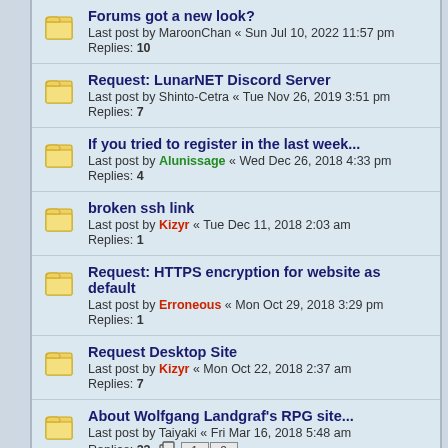Forums got a new look? — Last post by MaroonChan « Sun Jul 10, 2022 11:57 pm — Replies: 10
Request: LunarNET Discord Server — Last post by Shinto-Cetra « Tue Nov 26, 2019 3:51 pm — Replies: 7
If you tried to register in the last week... — Last post by Alunissage « Wed Dec 26, 2018 4:33 pm — Replies: 4
broken ssh link — Last post by Kizyr « Tue Dec 11, 2018 2:03 am — Replies: 1
Request: HTTPS encryption for website as default — Last post by Erroneous « Mon Oct 29, 2018 3:29 pm — Replies: 1
Request Desktop Site — Last post by Kizyr « Mon Oct 22, 2018 2:37 am — Replies: 7
About Wolfgang Landgraf's RPG site... — Last post by Taiyaki « Fri Mar 16, 2018 5:48 am — Replies: 23 — Pages: 1 2
What to update? — Last post by Kizyr « Tue Apr 18, 2017 4:26 am — Replies: 11
I just realized I have mod powers. — Last post by Alunissage « Tue Feb 14, 2017 2:47 am — Replies: 4